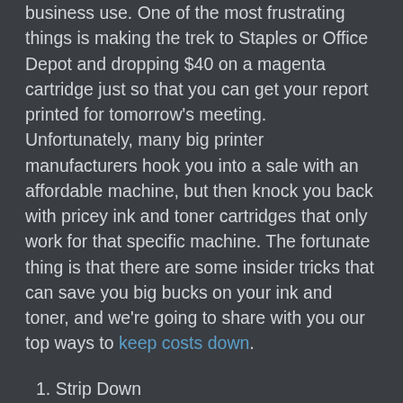business use. One of the most frustrating things is making the trek to Staples or Office Depot and dropping $40 on a magenta cartridge just so that you can get your report printed for tomorrow's meeting. Unfortunately, many big printer manufacturers hook you into a sale with an affordable machine, but then knock you back with pricey ink and toner cartridges that only work for that specific machine. The fortunate thing is that there are some insider tricks that can save you big bucks on your ink and toner, and we're going to share with you our top ways to keep costs down.
1. Strip Down
Keep your clothes on, we don't mean strip down in that way. Most websites offer printer-friendly versions of pages that strip everything to black